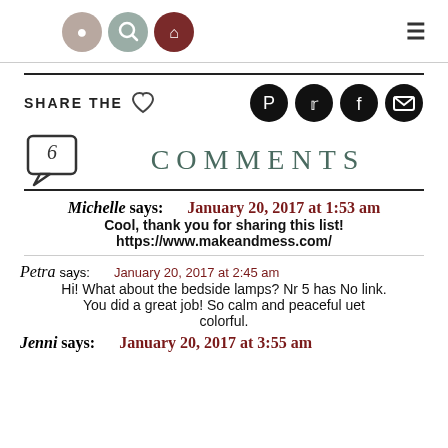Navigation header with icons and hamburger menu
SHARE THE ♡
[Figure (infographic): Social share buttons: Pinterest, Twitter, Facebook, Email]
[Figure (infographic): Speech bubble with number 6 and COMMENTS title]
Michelle says: January 20, 2017 at 1:53 am
Cool, thank you for sharing this list!
https://www.makeandmess.com/
Petra says: January 20, 2017 at 2:45 am
Hi! What about the bedside lamps? Nr 5 has No link.
You did a great job! So calm and peaceful uet colorful.
Jenni says: January 20, 2017 at 3:55 am